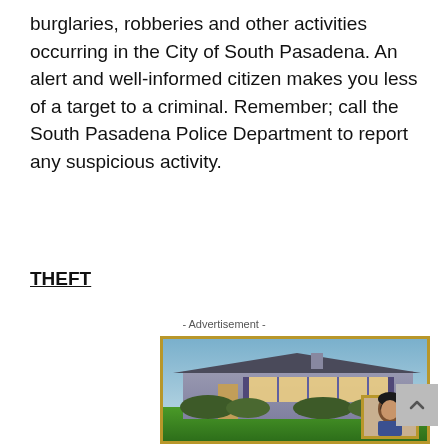burglaries, robberies and other activities occurring in the City of South Pasadena. An alert and well-informed citizen makes you less of a target to a criminal. Remember; call the South Pasadena Police Department to report any suspicious activity.
THEFT
- Advertisement -
[Figure (photo): Advertisement showing a single-story ranch-style house with blue-gray exterior, large windows, green lawn at dusk/evening, with a portrait inset of a man with glasses and dark hair in lower right corner. Gold border frame around the image.]